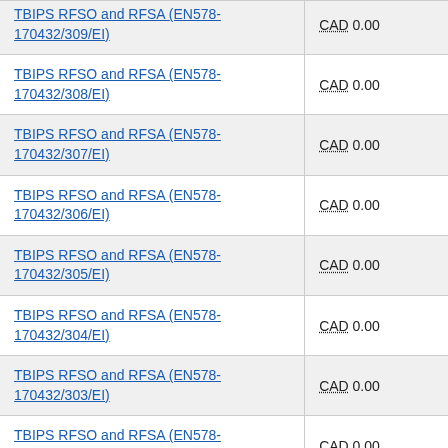| Contract/Amendment | Value |
| --- | --- |
| TBIPS RFSO and RFSA (EN578-170432/309/EI) | CAD 0.00 |
| TBIPS RFSO and RFSA (EN578-170432/308/EI) | CAD 0.00 |
| TBIPS RFSO and RFSA (EN578-170432/307/EI) | CAD 0.00 |
| TBIPS RFSO and RFSA (EN578-170432/306/EI) | CAD 0.00 |
| TBIPS RFSO and RFSA (EN578-170432/305/EI) | CAD 0.00 |
| TBIPS RFSO and RFSA (EN578-170432/304/EI) | CAD 0.00 |
| TBIPS RFSO and RFSA (EN578-170432/303/EI) | CAD 0.00 |
| TBIPS RFSO and RFSA (EN578-170432/300/EI) | CAD 0.00 |
| TBIPS RFSO and RFSA (EN578-170432/299/EI) | CAD 0.00 |
| TBIPS RFSO and RFSA (EN578-...) | CAD 0.00 |